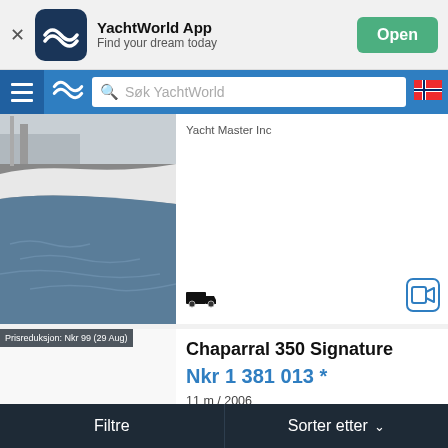[Figure (screenshot): YachtWorld app banner with dark blue logo icon, app name 'YachtWorld App', subtitle 'Find your dream today', and a green 'Open' button]
[Figure (screenshot): Navigation bar with hamburger menu, YachtWorld logo, search field 'Søk YachtWorld', and Norwegian flag icon]
Yacht Master Inc
[Figure (photo): Partial photo of a boat hull at water]
Prisreduksjon: Nkr 99 (29 Aug)
Chaparral 350 Signature
Nkr 1 381 013 *
11 m / 2006
Fort Lauderdale, Florida, Forente stater
My Yacht Sales
Filtre
Sorter etter